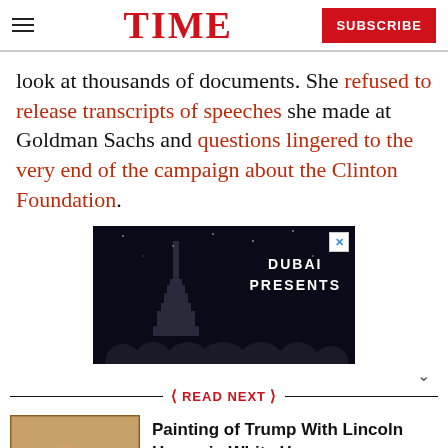TIME
look at thousands of documents. She refused to release transcripts of speeches she made at Goldman Sachs and questions lingered to the very end of the campaign about the Clinton Foundation.
[Figure (other): Advertisement banner with dark background showing Dubai cityscape with tower, text reading DUBAI PRESENTS, and silhouetted people at the bottom]
READ NEXT
[Figure (photo): Thumbnail image of a painting depicting Trump with Lincoln in the White House]
Painting of Trump With Lincoln Hangs in White House